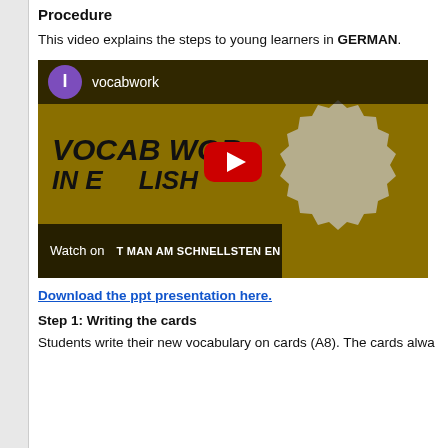Procedure
This video explains the steps to young learners in GERMAN.
[Figure (screenshot): YouTube video thumbnail for 'vocabwork' channel showing 'VOCAB WORK IN ENGLISH' text on a golden background with a gray badge/seal shape and a YouTube play button overlay. Bottom bar shows 'Watch on YouTube' and partial German text.]
Download the ppt presentation here.
Step 1: Writing the cards
Students write their new vocabulary on cards (A8). The cards alwa...